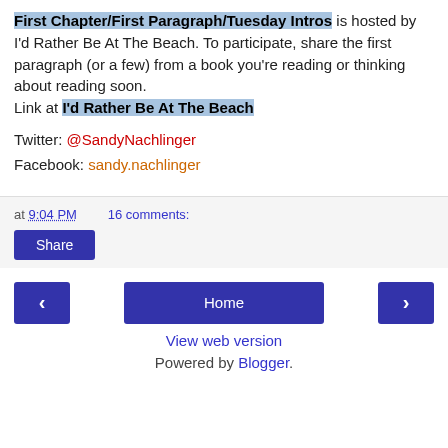First Chapter/First Paragraph/Tuesday Intros is hosted by I'd Rather Be At The Beach. To participate, share the first paragraph (or a few) from a book you're reading or thinking about reading soon.
Link at I'd Rather Be At The Beach
Twitter: @SandyNachlinger
Facebook: sandy.nachlinger
at 9:04 PM   16 comments:
Share
< Home >
View web version
Powered by Blogger.